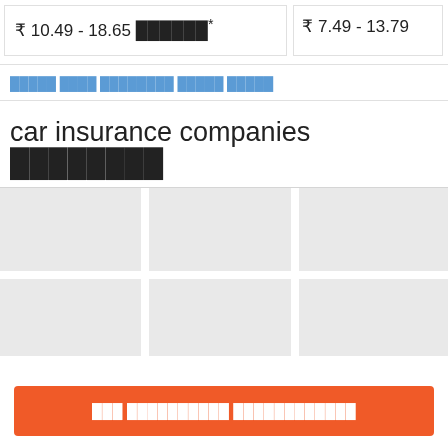₹ 10.49 - 18.65 ██████*
₹ 7.49 - 13.79
█████ ████ ████████ █████ █████
car insurance companies ████████
[Figure (other): Grid of 6 insurance company logo placeholder boxes in 2 rows of 3]
███ ██████████ ████████████